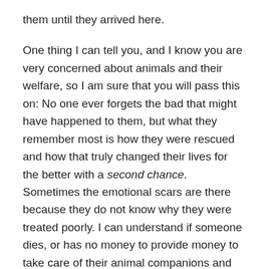them until they arrived here.
One thing I can tell you, and I know you are very concerned about animals and their welfare, so I am sure that you will pass this on: No one ever forgets the bad that might have happened to them, but what they remember most is how they were rescued and how that truly changed their lives for the better with a second chance. Sometimes the emotional scars are there because they do not know why they were treated poorly. I can understand if someone dies, or has no money to provide money to take care of their animal companions and re-homes someone, but treating an innocent creature poorly – animal or human is despicable!!!
I agree with what you said, people who do not love animals are vapid and those who have the connections